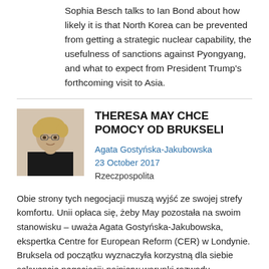Sophia Besch talks to Ian Bond about how likely it is that North Korea can be prevented from getting a strategic nuclear capability, the usefulness of sanctions against Pyongyang, and what to expect from President Trump's forthcoming visit to Asia.
THERESA MAY CHCE POMOCY OD BRUKSELI
Agata Gostyńska-Jakubowska
23 October 2017
Rzeczpospolita
Obie strony tych negocjacji muszą wyjść ze swojej strefy komfortu. Unii opłaca się, żeby May pozostała na swoim stanowisku – uważa Agata Gostyńska-Jakubowska, ekspertka Centre for European Reform (CER) w Londynie. Bruksela od początku wyznaczyła korzystną dla siebie sekwencję negocjacji: najpierw warunki rozwodu,